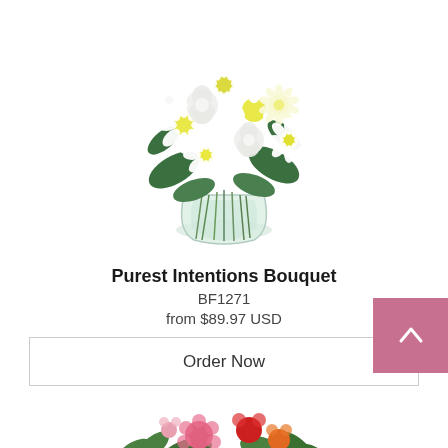[Figure (photo): White flower bouquet with daisies and roses in a clear glass vase, photographed on white background]
Purest Intentions Bouquet
BF1271
from $89.97 USD
Order Now
[Figure (photo): Partial view of a colorful flower bouquet with pink, red, and orange flowers, partially visible at bottom of page]